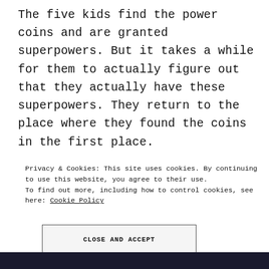The five kids find the power coins and are granted superpowers. But it takes a while for them to actually figure out that they actually have these superpowers. They return to the place where they found the coins in the first place.
Privacy & Cookies: This site uses cookies. By continuing to use this website, you agree to their use.
To find out more, including how to control cookies, see here: Cookie Policy
CLOSE AND ACCEPT
[Figure (photo): Dark photo strip at the bottom of the page, appears to show a vehicle scene.]